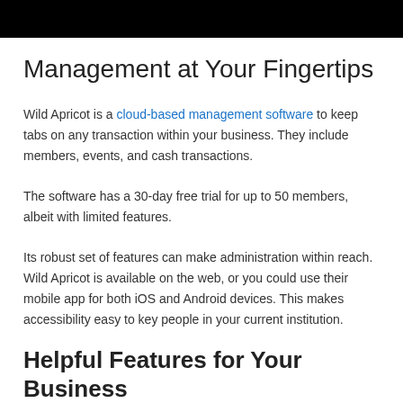[Figure (other): Black banner/header bar at the top of the page]
Management at Your Fingertips
Wild Apricot is a cloud-based management software to keep tabs on any transaction within your business. They include members, events, and cash transactions.
The software has a 30-day free trial for up to 50 members, albeit with limited features.
Its robust set of features can make administration within reach. Wild Apricot is available on the web, or you could use their mobile app for both iOS and Android devices. This makes accessibility easy to key people in your current institution.
Helpful Features for Your Business